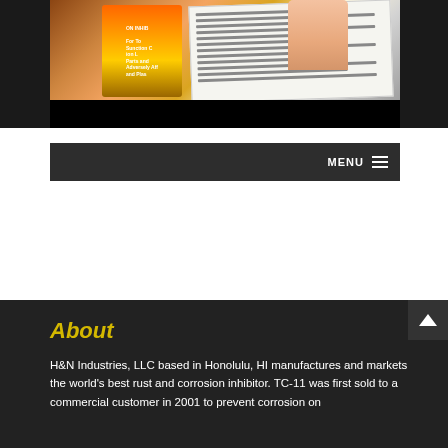[Figure (photo): Photo showing a rust/corrosion inhibitor product can (orange/yellow label) next to an open document/brochure on a wooden surface, with a hand visible in the upper right. A black bar appears below the photo.]
MENU ≡
About
H&N Industries, LLC based in Honolulu, HI manufactures and markets the world's best rust and corrosion inhibitor. TC-11 was first sold to a commercial customer in 2001 to prevent corrosion on